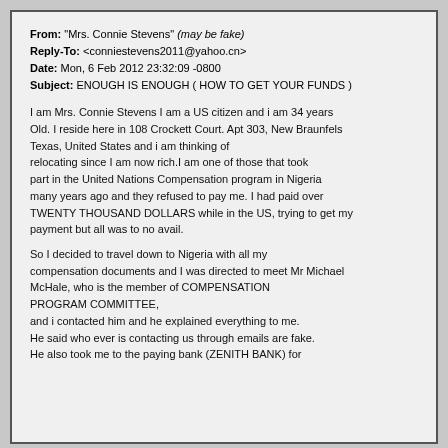From: "Mrs. Connie Stevens" (may be fake)
Reply-To: <conniestevens2011@yahoo.cn>
Date: Mon, 6 Feb 2012 23:32:09 -0800
Subject: ENOUGH IS ENOUGH ( HOW TO GET YOUR FUNDS )
I am Mrs. Connie Stevens I am a US citizen and i am 34 years
Old. I reside here in 108 Crockett Court. Apt 303, New Braunfels
Texas, United States and i am thinking of relocating since I am now rich.I am one of those that took part in the United Nations Compensation program in Nigeria
many years ago and they refused to pay me. I had paid over
TWENTY THOUSAND DOLLARS while in the US, trying to get my
payment but all was to no avail.
So I decided to travel down to Nigeria with all my compensation documents and I was directed to meet Mr Michael
McHale, who is the member of COMPENSATION PROGRAM COMMITTEE,
and i contacted him and he explained everything to me.
He said who ever is contacting us through emails are fake.
He also took me to the paying bank (ZENITH BANK) for...